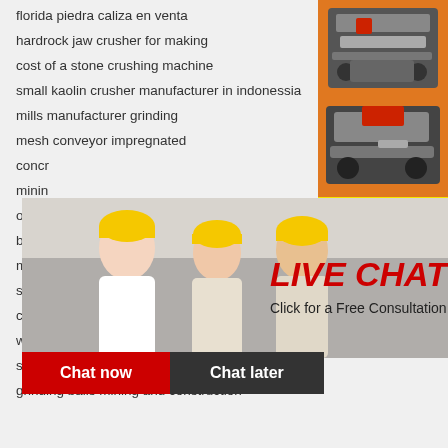florida piedra caliza en venta
hardrock jaw crusher for making
cost of a stone crushing machine
small kaolin crusher manufacturer in indonessia
mills manufacturer grinding
mesh conveyor impregnated
concr...
minin...
online...
ball m...
machine crusher quarry vibrating screens
shaking table for gold mineral   excavator for sale iran
crushing plant manufacuter
www used stone plant crusher
stone crushing jaw plate
grinding balls mining and construction
[Figure (screenshot): Live chat popup overlay with workers in hard hats, LIVE CHAT heading, 'Click for a Free Consultation' text, Chat now and Chat later buttons]
[Figure (photo): Orange sidebar with mining/crushing machinery images]
Enjoy 3% discount
Click to Chat
Enquiry
limingjlmofen@sina.com